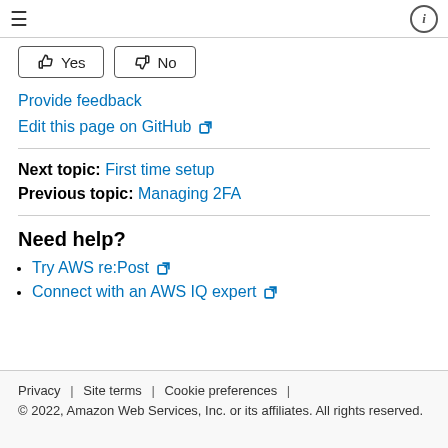≡  ⓘ
[Figure (other): Yes and No feedback buttons with thumbs up and thumbs down icons]
Provide feedback
Edit this page on GitHub ↗
Next topic: First time setup
Previous topic: Managing 2FA
Need help?
Try AWS re:Post ↗
Connect with an AWS IQ expert ↗
Privacy | Site terms | Cookie preferences |
© 2022, Amazon Web Services, Inc. or its affiliates. All rights reserved.